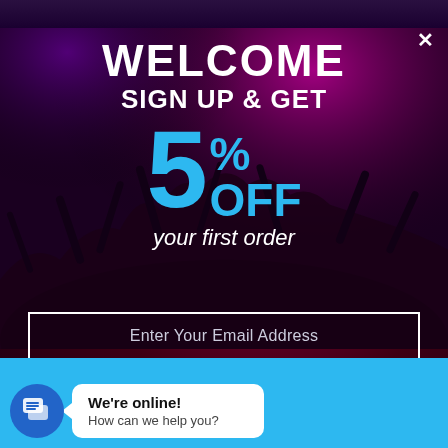[Figure (photo): Dark purple/magenta concert crowd with raised hands under purple stage lighting, used as background for a promotional popup]
WELCOME
SIGN UP & GET
5% OFF your first order
Enter Your Email Address
We're online! How can we help you?